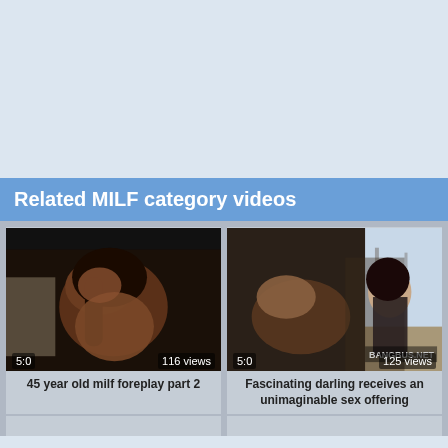Related MILF category videos
[Figure (screenshot): Video thumbnail: dark-haired woman, duration 5:0, 116 views. Title: 45 year old milf foreplay part 2]
[Figure (screenshot): Video thumbnail: woman in car interior, duration 5:0, 125 views. Title: Fascinating darling receives an unimaginable sex offering]